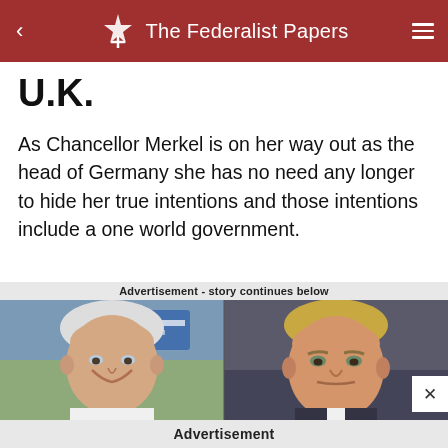The Federalist Papers
U.K.
As Chancellor Merkel is on her way out as the head of Germany she has no need any longer to hide her true intentions and those intentions include a one world government.
Advertisement - story continues below
[Figure (photo): Side-by-side photo of two politicians: left side shows an older white-haired man smiling (Joe Biden), right side shows a man with blonde hair looking forward (Donald Trump), with campaign/rally backgrounds visible.]
Advertisement